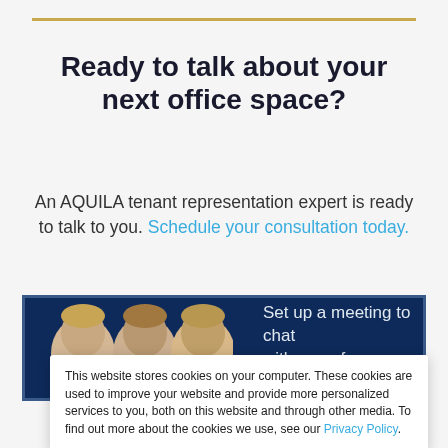Ready to talk about your next office space?
An AQUILA tenant representation expert is ready to talk to you. Schedule your consultation today.
[Figure (photo): Dark navy blue banner with three headshots of men and text 'Set up a meeting to chat with one of AQUILA's']
This website stores cookies on your computer. These cookies are used to improve your website and provide more personalized services to you, both on this website and through other media. To find out more about the cookies we use, see our Privacy Policy.
Accept